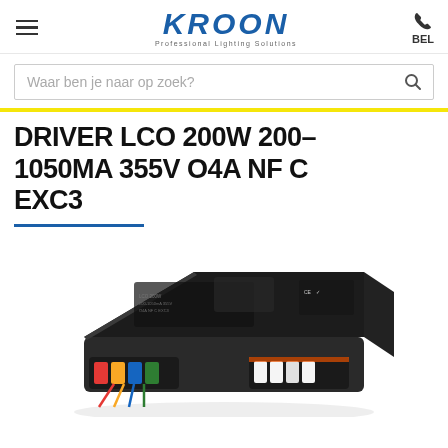KROON Professional Lighting Solutions | BEL
Waar ben je naar op zoek?
DRIVER LCO 200W 200–1050MA 355V O4A NF C EXC3
[Figure (photo): Black LED driver unit (LCO 200W) photographed at an angle, showing the top label with specifications and the front panel with colorful wiring connectors (red, yellow, blue, white).]